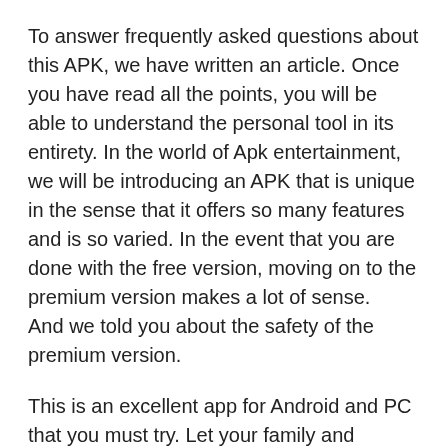To answer frequently asked questions about this APK, we have written an article. Once you have read all the points, you will be able to understand the personal tool in its entirety. In the world of Apk entertainment, we will be introducing an APK that is unique in the sense that it offers so many features and is so varied. In the event that you are done with the free version, moving on to the premium version makes a lot of sense.    And we told you about the safety of the premium version.
This is an excellent app for Android and PC that you must try. Let your family and friends know how much you like it. It is important to note that all versions included here are the original and original free apps without any modifications.